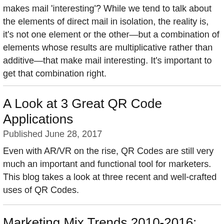makes mail 'interesting'? While we tend to talk about the elements of direct mail in isolation, the reality is, it's not one element or the other—but a combination of elements whose results are multiplicative rather than additive—that make mail interesting. It's important to get that combination right.
A Look at 3 Great QR Code Applications
Published June 28, 2017
Even with AR/VR on the rise, QR Codes are still very much an important and functional tool for marketers. This blog takes a look at three recent and well-crafted uses of QR Codes.
Marketing Mix Trends 2010-2016: Winners and Losers
Published June 16, 2017
Highlights from Target Marketing's annual Market Mix Trends